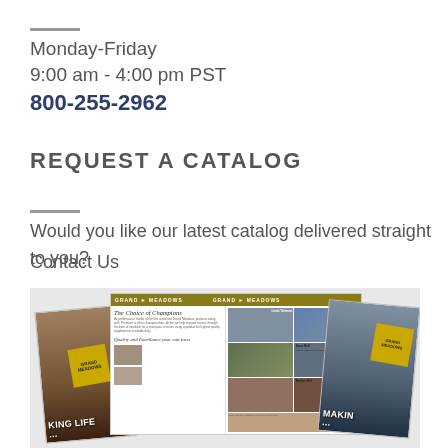Monday-Friday
9:00 am - 4:00 pm PST
800-255-2962
REQUEST A CATALOG
Would you like our latest catalog delivered straight to you?
Contact Us
[Figure (photo): Grand Meadows product catalog spread showing multiple catalog pages with equestrian photos and branding, including two bookmarks/cards with horse and rider images and Grand Meadows logo stickers]